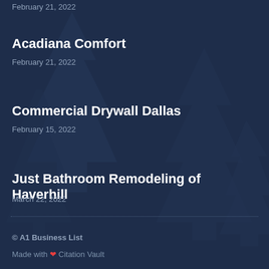February 21, 2022
Acadiana Comfort
February 21, 2022
Commercial Drywall Dallas
February 15, 2022
Just Bathroom Remodeling of Haverhill
March 22, 2022
© A1 Business List
Made with ❤ Citation Vault